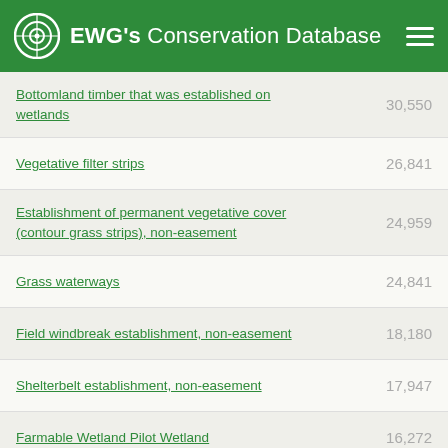EWG's Conservation Database
Bottomland timber that was established on wetlands
Vegetative filter strips
Establishment of permanent vegetative cover (contour grass strips), non-easement
Grass waterways
Field windbreak establishment, non-easement
Shelterbelt establishment, non-easement
Farmable Wetland Pilot Wetland